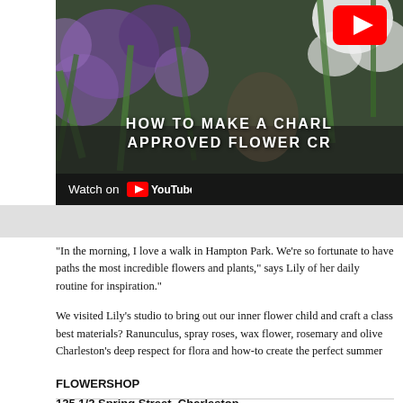[Figure (screenshot): YouTube video thumbnail showing purple flowers with text overlay 'HOW TO MAKE A CHARL... APPROVED FLOWER CR...' and a Watch on YouTube bar at the bottom, with YouTube play button in top right corner.]
“In the morning, I love a walk in Hampton Park. We’re so fortunate to have paths the most incredible flowers and plants,” says Lily of her daily routine for inspiration.”
We visited Lily’s studio to bring out our inner flower child and craft a class best materials? Ranunculus, spray roses, wax flower, rosemary and olive Charleston’s deep respect for flora and how-to create the perfect summer
FLOWERSHOP
125 1/2 Spring Street, Charleston
and at Mixson, 4491 Summey Street, North Charleston
FlowershopCHS.com